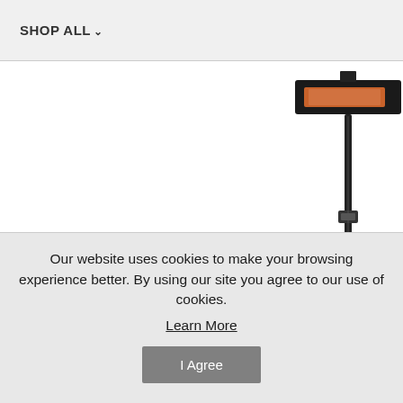SHOP ALL
[Figure (photo): Partial view of a freestanding patio infrared heater on a tall black pole stand, partially cropped on the right side of the page]
Our website uses cookies to make your browsing experience better. By using our site you agree to our use of cookies. Learn More
I Agree